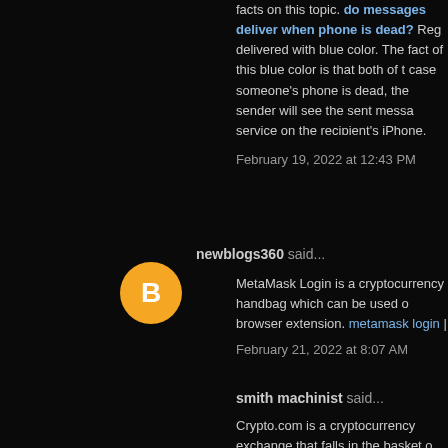facts on this topic. do messages deliver when phone is dead? Reg delivered with blue color. The fact of this blue color is that both of t case someone's phone is dead, the sender will see the sent messa service on the recipient's iPhone. However, once it's sent via the iM
February 19, 2022 at 12:43 PM
newblogs360 said...
MetaMask Login is a cryptocurrency handbag which can be used o browser extension. metamask login | metamask wallet | metamask
February 21, 2022 at 8:07 AM
smith machinist said...
Crypto.com is a cryptocurrency exchange that falls in the basket o domain names in the exchange space.
Crypto.com Exchange
Crypto.com Login
Crypto.com Login
February 25, 2022 at 7:14 PM
James said...
wedding photographs are meant to serve as treasured memories. you hire will provide priceless memories! Asian Wedding Cinema